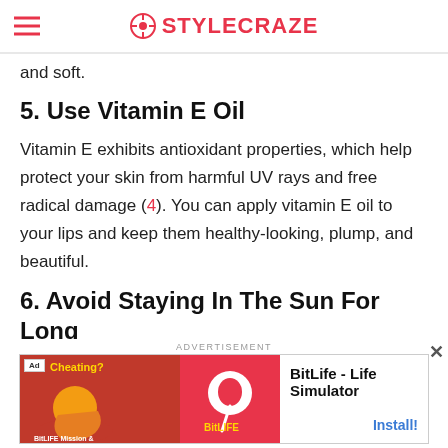STYLECRAZE
and soft.
5. Use Vitamin E Oil
Vitamin E exhibits antioxidant properties, which help protect your skin from harmful UV rays and free radical damage (4). You can apply vitamin E oil to your lips and keep them healthy-looking, plump, and beautiful.
6. Avoid Staying In The Sun For Long
The harsh UV rays of the sun can damage and
[Figure (screenshot): Advertisement banner for BitLife - Life Simulator mobile game with install button]